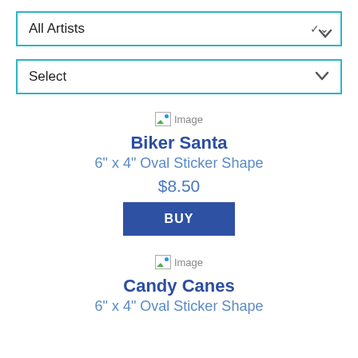All Artists
Select
[Figure (screenshot): Broken image placeholder with small icon labeled 'Image']
Biker Santa
6" x 4" Oval Sticker Shape
$8.50
BUY
[Figure (screenshot): Broken image placeholder with small icon labeled 'Image']
Candy Canes
6" x 4" Oval Sticker Shape